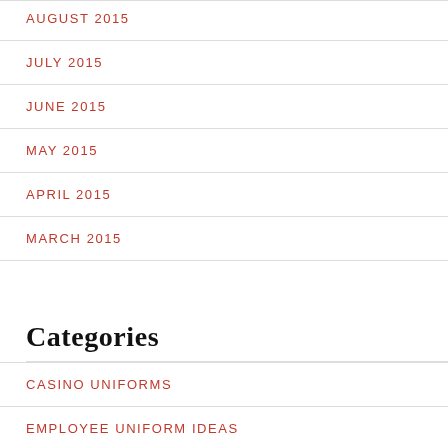AUGUST 2015
JULY 2015
JUNE 2015
MAY 2015
APRIL 2015
MARCH 2015
Categories
CASINO UNIFORMS
EMPLOYEE UNIFORM IDEAS
EMPLOYEE UNIFORMS